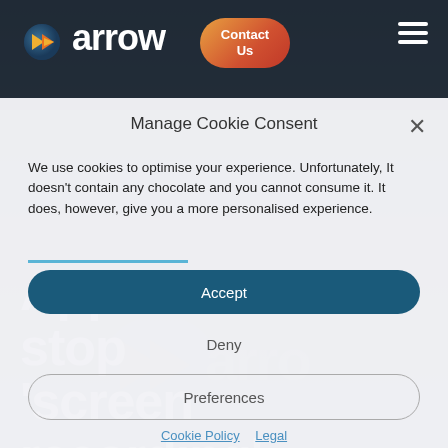[Figure (screenshot): Arrow company website header with logo, Contact Us button, and hamburger menu on dark background]
Apple moves to stop 'screen recording' apps
Manage Cookie Consent
We use cookies to optimise your experience. Unfortunately, It doesn't contain any chocolate and you cannot consume it. It does, however, give you a more personalised experience.
Accept
Deny
Preferences
Cookie Policy   Legal